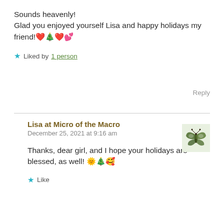Sounds heavenly!
Glad you enjoyed yourself Lisa and happy holidays my friend!❤️🎄❤️💕
★ Liked by 1 person
Reply
Lisa at Micro of the Macro
December 25, 2021 at 9:16 am
Thanks, dear girl, and I hope your holidays are blessed, as well! 🌞🎄🥰
★ Like